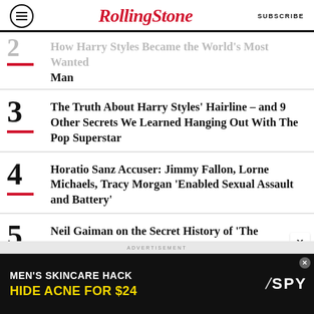RollingStone | SUBSCRIBE
2 — [How Harry Styles Became the World's Most Wanted Man] (partial, truncated)
3 The Truth About Harry Styles' Hairline – and 9 Other Secrets We Learned Hanging Out With The Pop Superstar
4 Horatio Sanz Accuser: Jimmy Fallon, Lorne Michaels, Tracy Morgan 'Enabled Sexual Assault and Battery'
5 Neil Gaiman on the Secret History of 'The Sandman,' from Giant Mechanical Spiders to the Joker
[Figure (other): Advertisement banner: MEN'S SKINCARE HACK / HIDE ACNE FOR $24 with SPY logo]